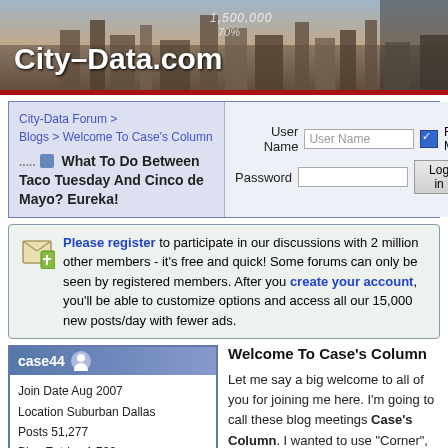[Figure (screenshot): City-Data.com website header banner with city skyline background showing stats 1,500,000 and 70%]
City-Data Forum > Blogs > Welcome To Case's Column
What To Do Between Taco Tuesday And Cinco de Mayo? Eureka!
User Name | Password | Remember Me | Log in | [Register]
Please register to participate in our discussions with 2 million other members - it's free and quick! Some forums can only be seen by registered members. After you create your account, you'll be able to customize options and access all our 15,000 new posts/day with fewer ads.
case44
Join Date Aug 2007
Location Suburban Dallas
Posts 51,277
Blog Entries 1,723
Blog views 87
Find Blog Entries by case44
Welcome To Case's Column
Let me say a big welcome to all of you for joining me here. I'm going to call these blog meetings Case's Column. I wanted to use "Corner", but that was already taken. Since 2008, it's been a real privilege to